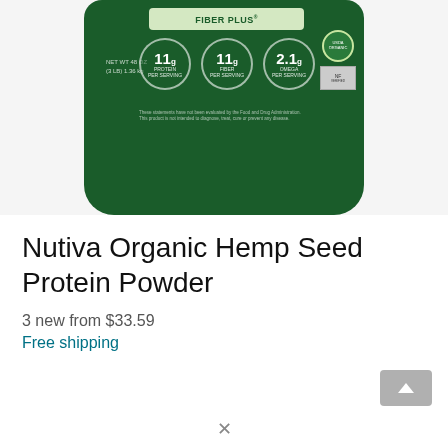[Figure (photo): Nutiva Organic Hemp Seed Protein Powder product bag in dark green color with FIBER PLUS label, showing 11g Protein, 11g Fiber, 2.1g Omega circles and USDA Organic badge]
Nutiva Organic Hemp Seed Protein Powder
3 new from $33.59
Free shipping